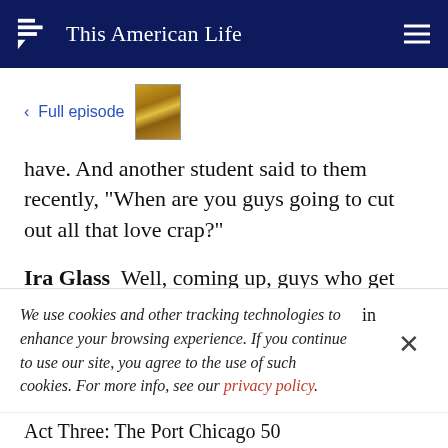This American Life
< Full episode
have. And another student said to them recently, "When are you guys going to cut out all that love crap?"
Ira Glass  Well, coming up, guys who get thrown
We use cookies and other tracking technologies to enhance your browsing experience. If you continue to use our site, you agree to the use of such cookies. For more info, see our privacy policy.
Act Three: The Port Chicago 50